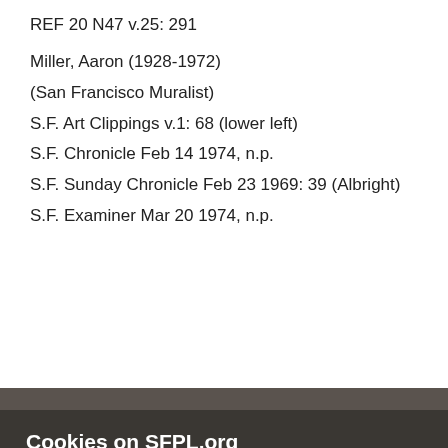REF 20 N47 v.25: 291
Miller, Aaron (1928-1972)
(San Francisco Muralist)
S.F. Art Clippings v.1: 68 (lower left)
S.F. Chronicle Feb 14 1974, n.p.
S.F. Sunday Chronicle Feb 23 1969: 39 (Albright)
S.F. Examiner Mar 20 1974, n.p.
REF 709.794 Al-Ap p.216
Cookies on SFPL.org
The San Francisco Public Library website uses cookies to improve your experience. Declining the use of cookies will not prevent you from using the website but some of your preferences may not be retained.
Decline
Accept
Appleton's Cyclopaedia of American Biography